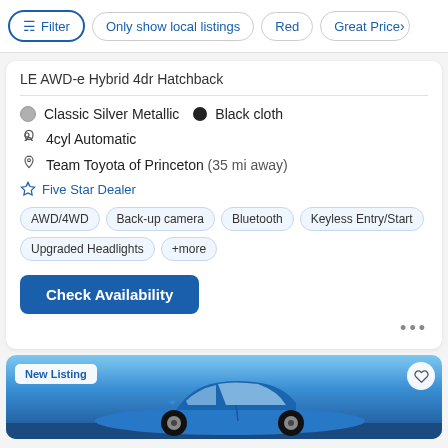Filter | Only show local listings | Red | Great Price
LE AWD-e Hybrid 4dr Hatchback
Classic Silver Metallic  •  Black cloth
4cyl Automatic
Team Toyota of Princeton (35 mi away)
Five Star Dealer
AWD/4WD  Back-up camera  Bluetooth  Keyless Entry/Start  Upgraded Headlights  +more
Check Availability
New Listing